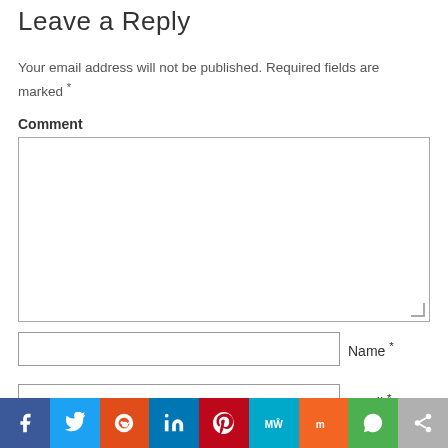Leave a Reply
Your email address will not be published. Required fields are marked *
Comment
[Figure (screenshot): Comment text area input box]
[Figure (screenshot): Name input field with label 'Name *']
[Figure (screenshot): Email input field with label 'Email *']
[Figure (infographic): Social sharing bar with icons: Facebook, Twitter, Reddit, LinkedIn, Pinterest, MeWe, Mix, WhatsApp, Share]